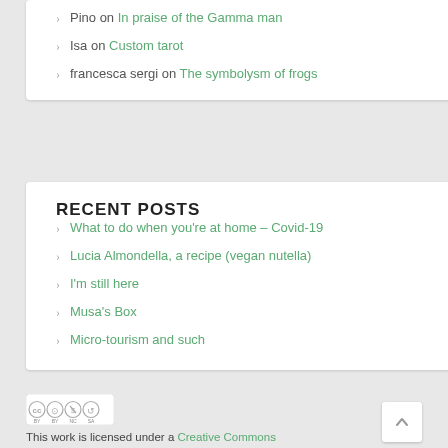Pino on In praise of the Gamma man
Isa on Custom tarot
francesca sergi on The symbolysm of frogs
RECENT POSTS
What to do when you're at home – Covid-19
Lucia Almondella, a recipe (vegan nutella)
I'm still here
Musa's Box
Micro-tourism and such
This work is licensed under a Creative Commons